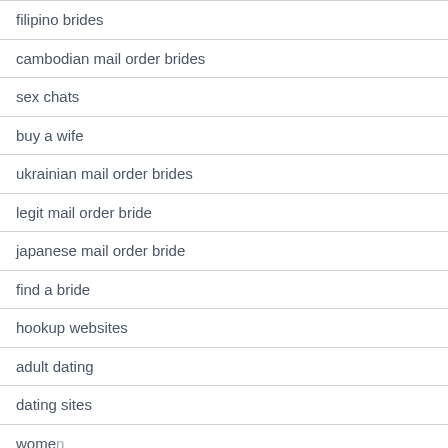filipino brides
cambodian mail order brides
sex chats
buy a wife
ukrainian mail order brides
legit mail order bride
japanese mail order bride
find a bride
hookup websites
adult dating
dating sites
women